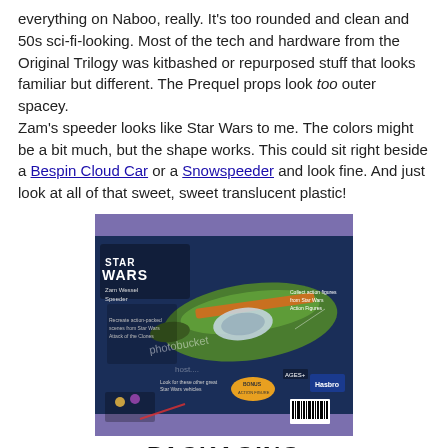everything on Naboo, really. It's too rounded and clean and 50s sci-fi-looking. Most of the tech and hardware from the Original Trilogy was kitbashed or repurposed stuff that looks familiar but different. The Prequel props look too outer spacey.
Zam's speeder looks like Star Wars to me. The colors might be a bit much, but the shape works. This could sit right beside a Bespin Cloud Car or a Snowspeeder and look fine. And just look at all of that sweet, sweet translucent plastic!
[Figure (photo): Star Wars toy packaging showing Zam's Speeder from Attack of the Clones — back of box with green speeder vehicle prominently displayed, Star Wars logo, and watermark from Photobucket/hostshare]
PACKAGING